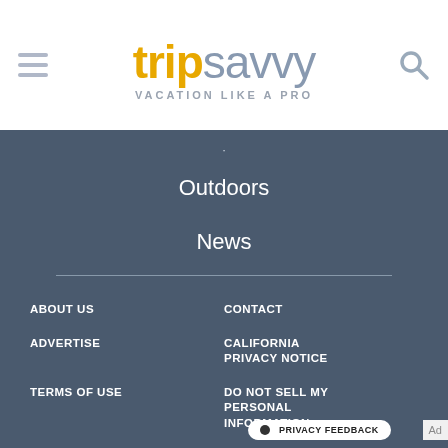[Figure (logo): TripSavvy logo with hamburger menu icon on left and search icon on right. Logo reads 'trip' in gold/yellow bold and 'savvy' in grey light weight. Subtitle: VACATION LIKE A PRO]
Outdoors
News
ABOUT US
CONTACT
ADVERTISE
CALIFORNIA PRIVACY NOTICE
TERMS OF USE
DO NOT SELL MY PERSONAL INFORMATION
CAREERS
PRIVACY POLICY
COOKIE POLICY
PRIVACY FEEDBACK
Ad